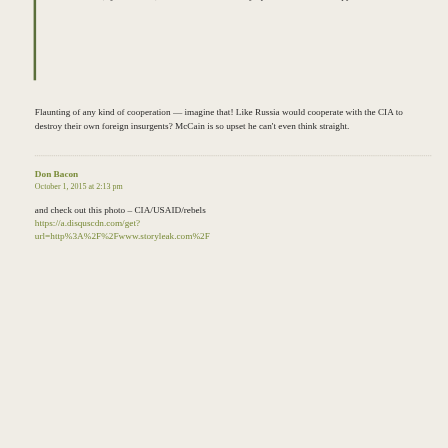its commanders, Iyad al-Deek, was killed on Wednesday by a Russian bomb dropped in Homs.
Flaunting of any kind of cooperation — imagine that! Like Russia would cooperate with the CIA to destroy their own foreign insurgents? McCain is so upset he can't even think straight.
Don Bacon
October 1, 2015 at 2:13 pm
and check out this photo – CIA/USAID/rebels https://a.disquscdn.com/get? url=http%3A%2F%2Fwww.storyleak.com%2F